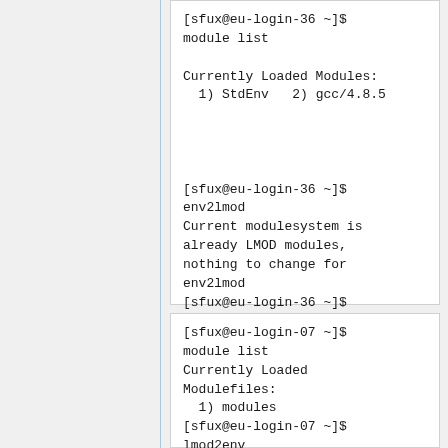[sfux@eu-login-36 ~]$ module list

Currently Loaded Modules:
  1) StdEnv   2) gcc/4.8.5



[sfux@eu-login-36 ~]$ env2lmod
Current modulesystem is already LMOD modules, nothing to change for env2lmod
[sfux@eu-login-36 ~]$
[sfux@eu-login-07 ~]$ module list
Currently Loaded Modulefiles:
  1) modules
[sfux@eu-login-07 ~]$ lmod2env
Current modulesystem is